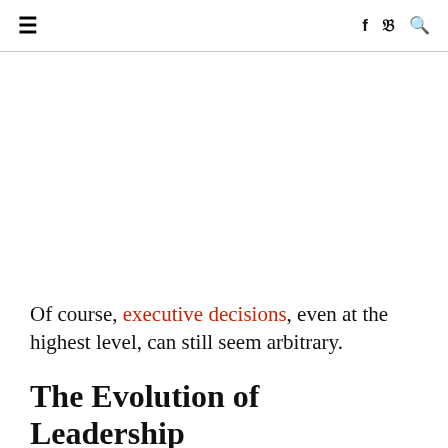≡  f  𝕏  🔍
Of course, executive decisions, even at the highest level, can still seem arbitrary.
The Evolution of Leadership